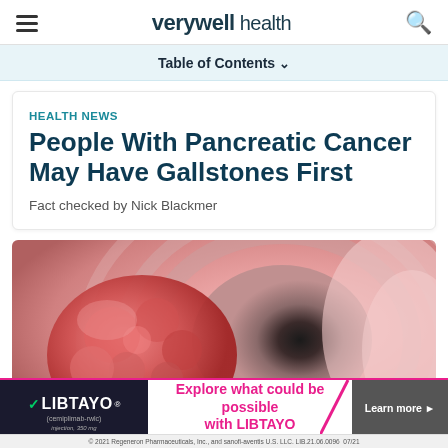verywell health
Table of Contents
HEALTH NEWS
People With Pancreatic Cancer May Have Gallstones First
Fact checked by Nick Blackmer
[Figure (photo): Close-up medical image showing a pink tumor or growth in a tubular body cavity (likely intestine or bile duct), viewed from endoscope perspective]
[Figure (other): LIBTAYO (cemiplimab-rwlc) advertisement banner: 'Explore what could be possible with LIBTAYO' with Learn more button. © 2021 Regeneron Pharmaceuticals, Inc., and sanofi-aventis U.S. LLC. LIB.21.06.0096 07/21]